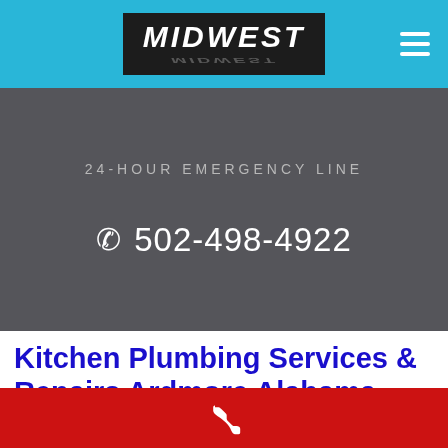MIDWEST
24-HOUR EMERGENCY LINE
☎ 502-498-4922
Kitchen Plumbing Services & Repairs Ardmore Alabama
[Figure (illustration): Red call bar with white telephone handset icon at the bottom of the page]